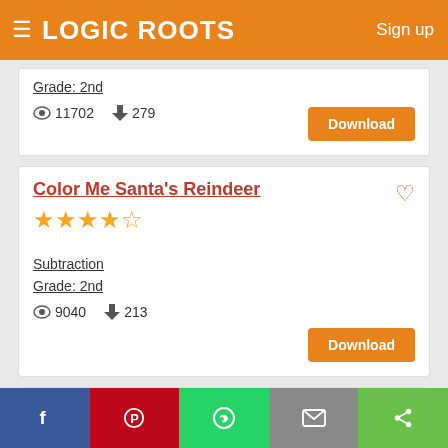LOGIC ROOTS  Sign up
Grade: 2nd
11702  279
Color Me Santa's Reindeer
★★★★★ (4.5 stars)
Subtraction
Grade: 2nd
9040  213
Every Drop Counts
★★★★★ (4.5 stars)
Facebook  Pinterest  WhatsApp  Email  Share